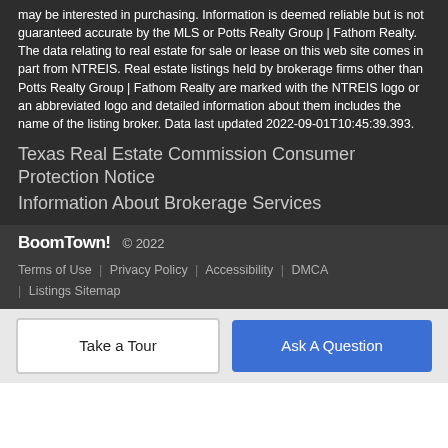may be interested in purchasing. Information is deemed reliable but is not guaranteed accurate by the MLS or Potts Realty Group | Fathom Realty. The data relating to real estate for sale or lease on this web site comes in part from NTREIS. Real estate listings held by brokerage firms other than Potts Realty Group | Fathom Realty are marked with the NTREIS logo or an abbreviated logo and detailed information about them includes the name of the listing broker. Data last updated 2022-09-01T10:45:39.393.
Texas Real Estate Commission Consumer Protection Notice
Information About Brokerage Services
BoomTown!  © 2022
Terms of Use  |  Privacy Policy  |  Accessibility  |  DMCA  |  Listings Sitemap
Take a Tour
Ask A Question